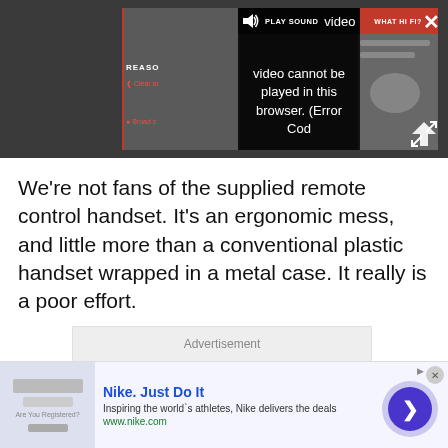[Figure (screenshot): Video player showing error overlay: 'Video cannot be played in this browser. (Error Cod' with PLAY SOUND button, close X button, expand button, and partial video thumbnails of audio equipment and WHAT HI FI? badge.]
We’re not fans of the supplied remote control handset. It’s an ergonomic mess, and little more than a conventional plastic handset wrapped in a metal case. It really is a poor effort.
Advertisement
[Figure (screenshot): Nike advertisement banner: Nike. Just Do It. Inspiring the world’s athletes, Nike delivers the deals. www.nike.com]